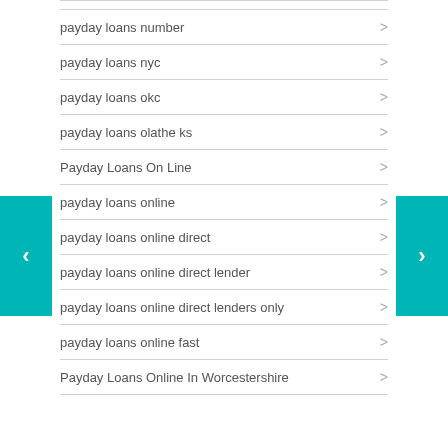payday loans number
payday loans nyc
payday loans okc
payday loans olathe ks
Payday Loans On Line
payday loans online
payday loans online direct
payday loans online direct lender
payday loans online direct lenders only
payday loans online fast
Payday Loans Online In Worcestershire